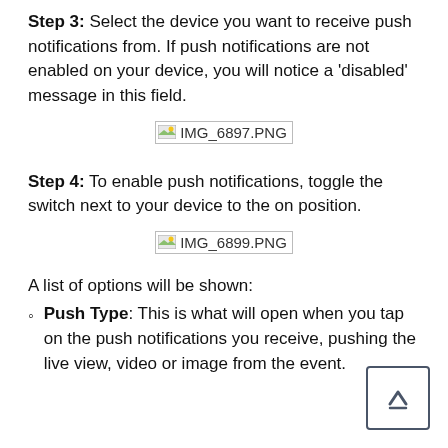Step 3: Select the device you want to receive push notifications from. If push notifications are not enabled on your device, you will notice a 'disabled' message in this field.
[Figure (screenshot): Placeholder image labeled IMG_6897.PNG]
Step 4: To enable push notifications, toggle the switch next to your device to the on position.
[Figure (screenshot): Placeholder image labeled IMG_6899.PNG]
A list of options will be shown:
Push Type: This is what will open when you tap on the push notifications you receive, pushing the live view, video or image from the event.